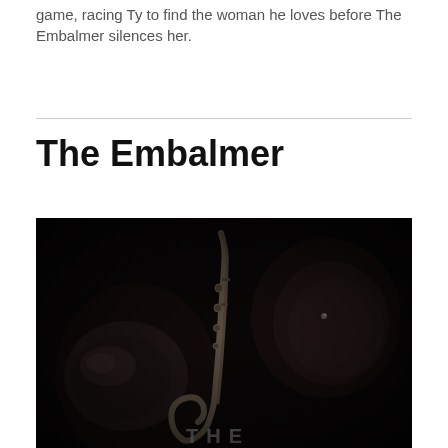game, racing Ty to find the woman he loves before The Embalmer silences her.
The Embalmer
[Figure (photo): Dark, moody black-and-white photograph showing two figures wearing masks, with a musical instrument (saxophone) visible in the foreground. Text at the bottom partially visible appears to read 'THE'. The image has a dark, atmospheric quality.]